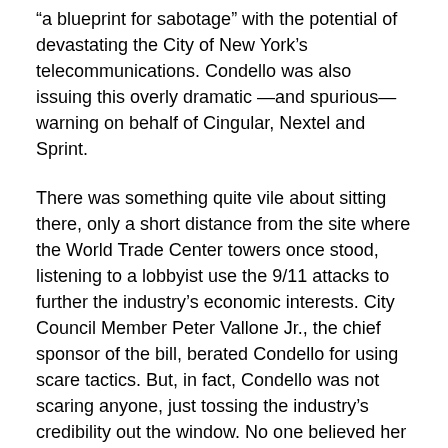“a blueprint for sabotage” with the potential of devastating the City of New York’s telecommunications. Condello was also issuing this overly dramatic —and spurious— warning on behalf of Cingular, Nextel and Sprint.
There was something quite vile about sitting there, only a short distance from the site where the World Trade Center towers once stood, listening to a lobbyist use the 9/11 attacks to further the industry’s economic interests. City Council Member Peter Vallone Jr., the chief sponsor of the bill, berated Condello for using scare tactics. But, in fact, Condello was not scaring anyone, just tossing the industry’s credibility out the window. No one believed her and, odds are, few will believe the industry when, at a second hearing to be held later this week, it will no doubt dismiss the health issue. (Speakers were actively discouraged from addressing RF health effects at yesterday’s hearing.)
The whole terrorism argument is bogus. Anyone who wants to attack a cell tower can easily spot them around the town. But surely there are much more critical telecom targets than some